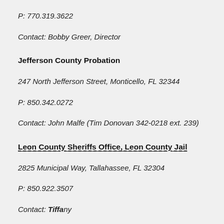P: 770.319.3622
Contact: Bobby Greer, Director
Jefferson County Probation
247 North Jefferson Street, Monticello, FL 32344
P: 850.342.0272
Contact: John Malfe (Tim Donovan 342-0218 ext. 239)
Leon County Sheriffs Office, Leon County Jail
2825 Municipal Way, Tallahassee, FL 32304
P: 850.922.3507
Contact: Tiffany...